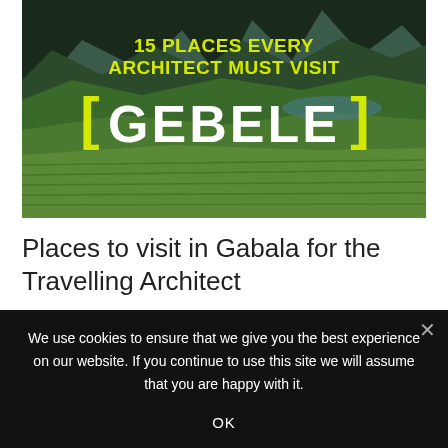[Figure (photo): Aerial/landscape photograph of Gabala (Gebele), Azerbaijan showing green forested mountains, terraced hillsides, and a valley with a lake in the background. Overlaid with text: '15 PLACES EVERY ARCHITECT MUST VISIT [GEBELE]' in yellow and white bold typography.]
Places to visit in Gabala for the Travelling Architect
We use cookies to ensure that we give you the best experience on our website. If you continue to use this site we will assume that you are happy with it.
OK